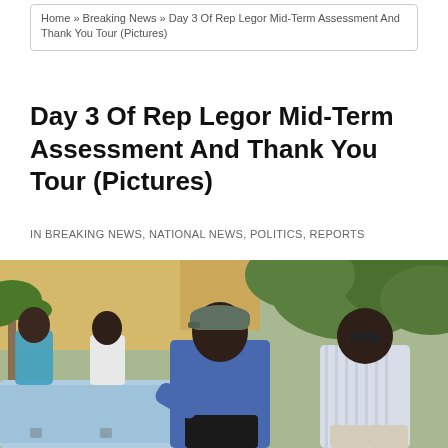Home » Breaking News » Day 3 Of Rep Legor Mid-Term Assessment And Thank You Tour (Pictures)
Day 3 Of Rep Legor Mid-Term Assessment And Thank You Tour (Pictures)
IN BREAKING NEWS, NATIONAL NEWS, POLITICS, REPORTS
[Figure (photo): Outdoor photo of men near a water tap/borehole structure. A man in a blue shirt and gray cap is leaning forward examining the water tap. A man in a white striped shirt stands to the right. Two other men stand in the background. Yellow building and green trees visible behind them.]